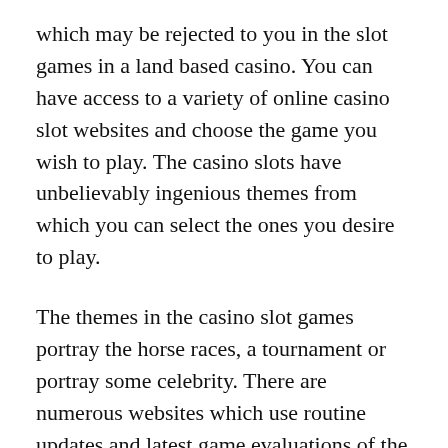which may be rejected to you in the slot games in a land based casino. You can have access to a variety of online casino slot websites and choose the game you wish to play. The casino slots have unbelievably ingenious themes from which you can select the ones you desire to play.
The themes in the casino slot games portray the horse races, a tournament or portray some celebrity. There are numerous websites which use routine updates and latest game evaluations of the casino slot online and offer ratings on different casino game providers. This makes it possible for one to know very well the credibility of a particular online casino slot and their legitimacy in this field. Such information is really helpful for the players to decide on which the online casino game to remain in